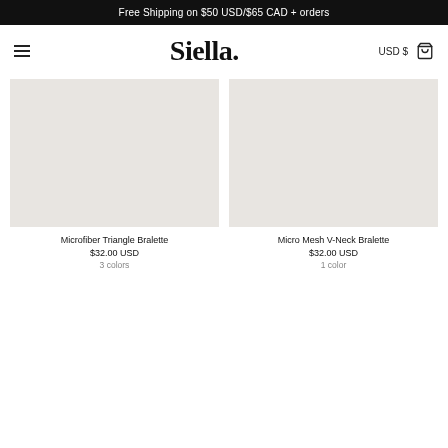Free Shipping on $50 USD/$65 CAD + orders
Siella.
USD $
[Figure (other): Product image placeholder for Microfiber Triangle Bralette]
Microfiber Triangle Bralette
$32.00 USD
3 colors
[Figure (other): Product image placeholder for Micro Mesh V-Neck Bralette]
Micro Mesh V-Neck Bralette
$32.00 USD
1 color